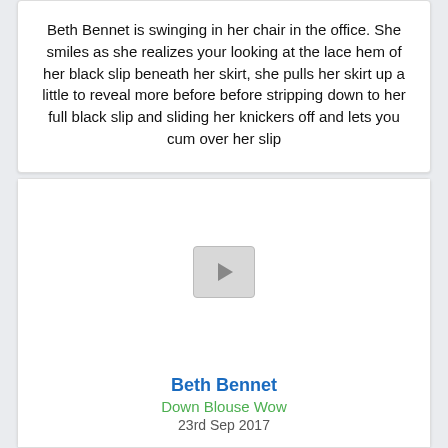Beth Bennet is swinging in her chair in the office. She smiles as she realizes your looking at the lace hem of her black slip beneath her skirt, she pulls her skirt up a little to reveal more before before stripping down to her full black slip and sliding her knickers off and lets you cum over her slip
[Figure (other): Video player thumbnail with play button]
Beth Bennet
Down Blouse Wow
23rd Sep 2017